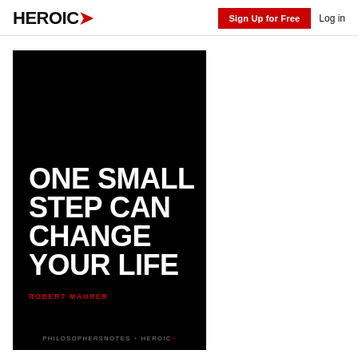HEROIC → Sign Up for Free Log in
[Figure (illustration): Book cover for 'One Small Step Can Change Your Life' by Robert Maurer. Black background with large white bold uppercase text for the title and red uppercase text for the author name. Footer shows PHILOSOPHERSNOTES + HEROIC+ logos.]